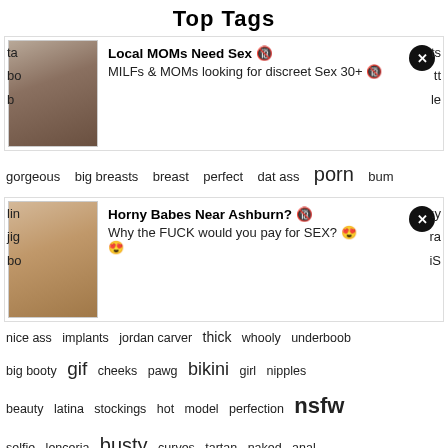Top Tags
[Figure (infographic): Advertisement block: Local MOMs Need Sex. MILFs & MOMs looking for discreet Sex 30+]
gorgeous  big breasts  breast  perfect  dat ass  porn  bum
[Figure (infographic): Advertisement block: Horny Babes Near Ashburn? Why the FUCK would you pay for SEX?]
nice ass  implants  jordan carver  thick  whooty  underboob  big booty  gif  cheeks  pawg  bikini  girl  nipples  beauty  latina  stockings  hot  model  perfection  nsfw  selfie  lenceria  busty  curves  tartan  naked  anal  big ass  panties  pussy  tattoo  boobs  amy anderssen  bubble butt  curvy  amateur  bimbo  sexy  sex  Bella French  legs  phat ass  juggs  babe  pornstar  fake boobs  cleavage